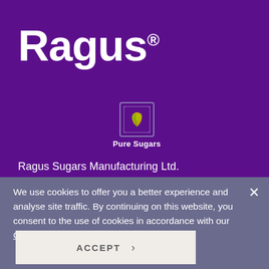Ragus®
[Figure (logo): Pure Sugars logo — a small square icon with a stylized plant/leaf mark on purple background, with 'Pure Sugars' text below]
Ragus Sugars Manufacturing Ltd.
830 Yeovil Road
Berkshire SL1 4JG
We use cookies to offer you a better experience and analyse site traffic. By continuing on this website, you consent to the use of cookies in accordance with our Cookie Policy.
ACCEPT >